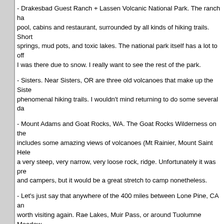- Drakesbad Guest Ranch + Lassen Volcanic National Park. The ranch has a pool, cabins and restaurant, surrounded by all kinds of hiking trails. Short trips to hot springs, mud pots, and toxic lakes. The national park itself has a lot to offer, most of which I was there due to snow. I really want to see the rest of the park.
- Sisters. Near Sisters, OR are three old volcanoes that make up the Sisters, with phenomenal hiking trails. I wouldn't mind returning to do some several da...
- Mount Adams and Goat Rocks, WA. The Goat Rocks Wilderness on the... includes some amazing views of volcanoes (Mt Rainier, Mount Saint Hele... a very steep, very narrow, very loose rock, ridge. Unfortunately it was pre... and campers, but it would be a great stretch to camp nonetheless.
- Let's just say that anywhere of the 400 miles between Lone Pine, CA an... worth visiting again. Rae Lakes, Muir Pass, or around Tuolumne Meadow... southern half - day hikes around Sonora Pass, Carson Pass or Ebbetts P... Desolation Wilderness around Lake Tahoe is the section I skipped and is... neat area.
[ view entry ] ( 14433 views )  |  permalink  |  print article
<Back | 1 | 2 | 3 | 4 | 5 | 6 | 7 | 8 | 9 | Next> Last>>